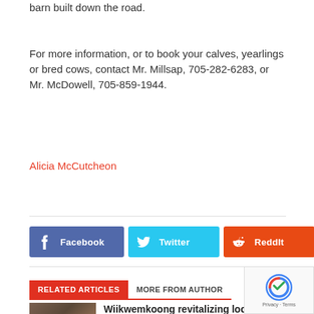barn built down the road.
For more information, or to book your calves, yearlings or bred cows, contact Mr. Millsap, 705-282-6283, or Mr. McDowell, 705-859-1944.
Alicia McCutcheon
[Figure (other): Social share buttons: Facebook (blue-purple), Twitter (cyan), ReddIt (orange-red), and a plus (+) more button]
RELATED ARTICLES   MORE FROM AUTHOR
[Figure (photo): Thumbnail image of cattle, brownish tones]
Wiikwemkoong revitalizing local agricultural base